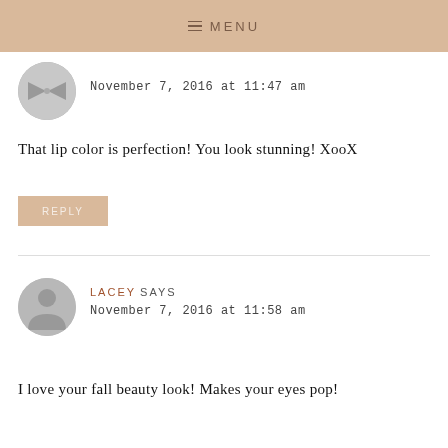≡ MENU
November 7, 2016 at 11:47 am
That lip color is perfection! You look stunning! XooX
REPLY
LACEY SAYS
November 7, 2016 at 11:58 am
I love your fall beauty look! Makes your eyes pop!
xo Lacey
http://www.myboringcloset.com